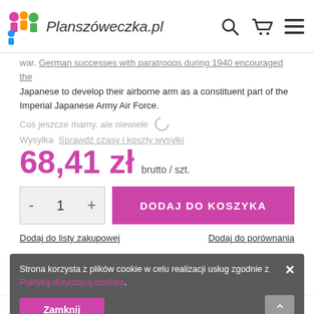Planszóweczka.pl
war. German successes with paratroops during 1940 encouraged the Japanese to develop their airborne arm as a constituent part of the Imperial Japanese Army Air Force.
Coś jeszcze mamy, ale niewiele
Wysyłka  Sprawdź czasy i koszty wysyłki
68,41 zł brutto / szt.
- 1 + DODAJ DO KOSZYKA
Dodaj do listy zakupowej   Dodaj do porównania
Strona korzysta z plików cookie w celu realizacji usług zgodnie z Polityką dotyczącą cookies.
Zamknij
15 dni na łatwy zwrot